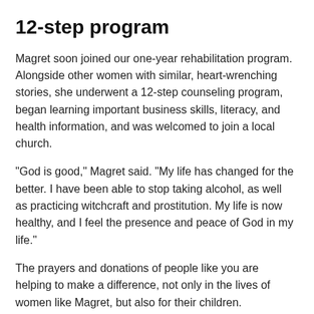12-step program
Magret soon joined our one-year rehabilitation program. Alongside other women with similar, heart-wrenching stories, she underwent a 12-step counseling program, began learning important business skills, literacy, and health information, and was welcomed to join a local church.
“God is good,” Magret said. “My life has changed for the better. I have been able to stop taking alcohol, as well as practicing witchcraft and prostitution. My life is now healthy, and I feel the presence and peace of God in my life.”
The prayers and donations of people like you are helping to make a difference, not only in the lives of women like Magret, but also for their children.